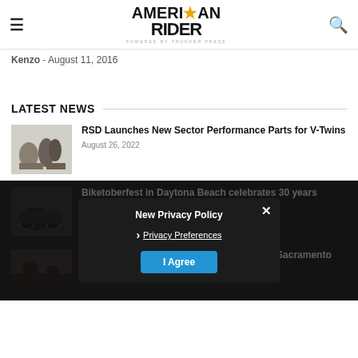American Rider — powered by Thunder Press
Kenzo - August 11, 2016
LATEST NEWS
[Figure (photo): Motorcycle performance parts - RSD sector parts for V-Twins]
RSD Launches New Sector Performance Parts for V-Twins
August 26, 2022
[Figure (photo): Biketoberfest scene - motorcycles at Daytona Beach]
Biketoberfest in Daytona Beach celebrates 30 years
[Figure (screenshot): New Privacy Policy modal overlay with Privacy Preferences link and I Agree button and close X]
[Figure (photo): Progress results - motorcycles racing at Sacramento Mile]
Progress Results: Daniels Sque Victory At Sacramento Mile